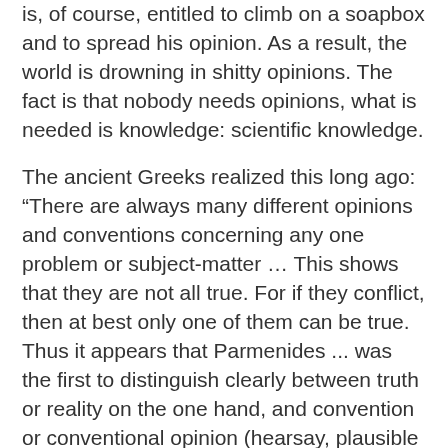is, of course, entitled to climb on a soapbox and to spread his opinion. As a result, the world is drowning in shitty opinions. The fact is that nobody needs opinions, what is needed is knowledge: scientific knowledge.
The ancient Greeks realized this long ago: “There are always many different opinions and conventions concerning any one problem or subject-matter … This shows that they are not all true. For if they conflict, then at best only one of them can be true. Thus it appears that Parmenides ... was the first to distinguish clearly between truth or reality on the one hand, and convention or conventional opinion (hearsay, plausible myth) on the other ...” (Popper)
This insight, obviously, has not yet arrived under the rock where you live.
Economics is about how the economic system works. It is NOT about the sex life of Keynes, nor about liberty, nor about fake moonwalks, nor about global warming. True, economists are relentlessly blathering about all these things but this only proves that they are stupid/ corrupt agenda